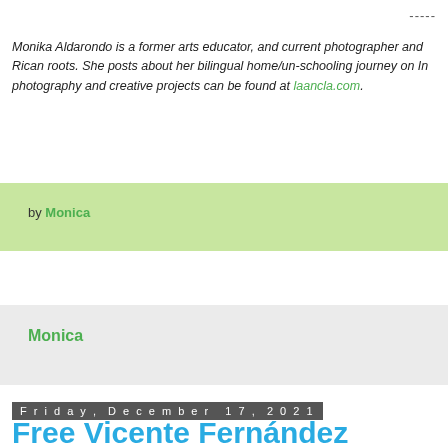-----
Monika Aldarondo is a former arts educator, and current photographer and Rican roots. She posts about her bilingual home/un-schooling journey on In photography and creative projects can be found at laancla.com.
by Monica
Monica
Friday, December 17, 2021
Free Vicente Fernández Reading Passage
[Figure (illustration): Book cover image for Vicente Fernández One-Page Reading Passage w/Quiz! with green text on dark background]